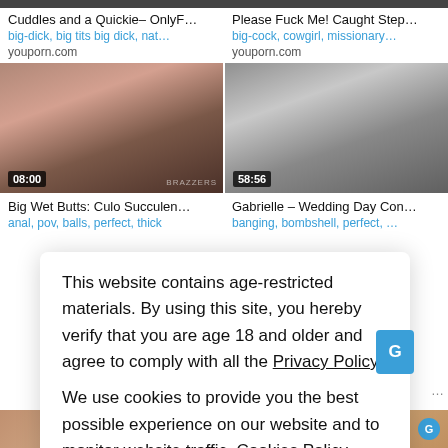[Figure (screenshot): Two video thumbnails (top row, partially cropped) from a video sharing site]
Cuddles and a Quickie- OnlyF...
big-dick, big tits big dick, nat...
youporn.com
Please Fuck Me! Caught Step...
big-cock, cowgirl, missionary...
youporn.com
[Figure (screenshot): Two video thumbnails (middle row) with duration overlays 08:00 and 58:56]
Big Wet Butts: Culo Succulen...
anal, pov, balls, perfect, thick
Gabrielle - Wedding Day Con...
banging, bombshell, perfect, ...
This website contains age-restricted materials. By using this site, you hereby verify that you are age 18 and older and agree to comply with all the Privacy Policy.
We use cookies to provide you the best possible experience on our website and to monitor website traffic. Cookies Policy.
[Figure (screenshot): Two partial video thumbnails at the bottom of the page]